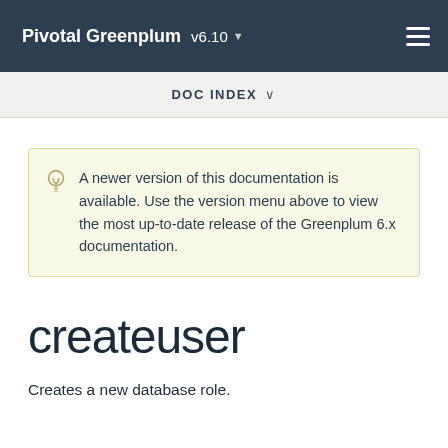Pivotal Greenplum v6.10
DOC INDEX
A newer version of this documentation is available. Use the version menu above to view the most up-to-date release of the Greenplum 6.x documentation.
createuser
Creates a new database role.